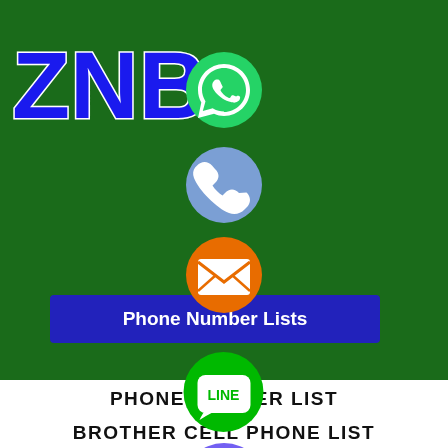[Figure (screenshot): ZNB Directory app screenshot showing logo, social media icons (WhatsApp, Phone, Email/SMS, LINE, Viber, close button), a Phone Number Lists button, menu items, and footer]
ZNB
Phone Number Lists
PHONE NUMBER LIST
BROTHER CELL PHONE LIST
MIGRANTS
LAST DATABASE
PHONE EDITOR
All right reserved by ZNB Directory